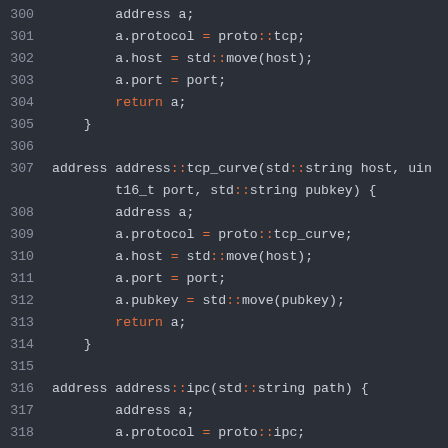[Figure (screenshot): C++ source code snippet showing address construction functions (tcp, tcp_curve, ipc) with line numbers 300-321. Dark theme code editor with orange keywords and namespace separators.]